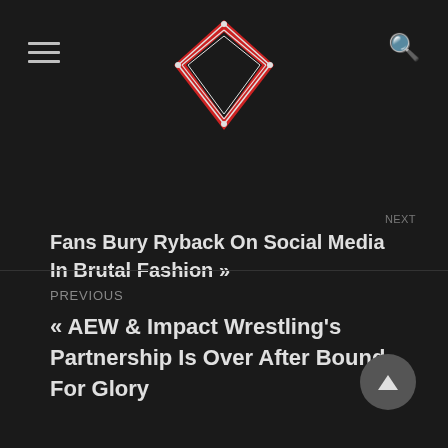[Figure (logo): Wrestling website logo: a red and black wrestling ring viewed from above with ropes, diamond/shield shaped]
Fans Bury Ryback On Social Media In Brutal Fashion »
PREVIOUS
« AEW & Impact Wrestling's Partnership Is Over After Bound For Glory